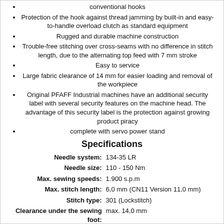conventional hooks
Protection of the hook against thread jamming by built-in and easy-to-handle overload clutch as standard equipment
Rugged and durable machine construction
Trouble-free stitching over cross-seams with no difference in stitch length, due to the alternating top feed with 7 mm stroke
Easy to service
Large fabric clearance of 14 mm for easier loading and removal of the workpiece
Original PFAFF Industrial machines have an additional security label with several security features on the machine head. The advantage of this security label is the protection against growing product piracy
complete with servo power stand
Specifications
| Specification | Value |
| --- | --- |
| Needle system: | 134-35 LR |
| Needle size: | 110 - 150 Nm |
| Max. sewing speeds: | 1.900 s.p.m |
| Max. stitch length: | 6,0 mm (CN11 Version 11,0 mm) |
| Stitch type: | 301 (Lockstitch) |
| Clearance under the sewing foot: | max. 14,0 mm |
| DClear workspace: | 270 x 270 mm |